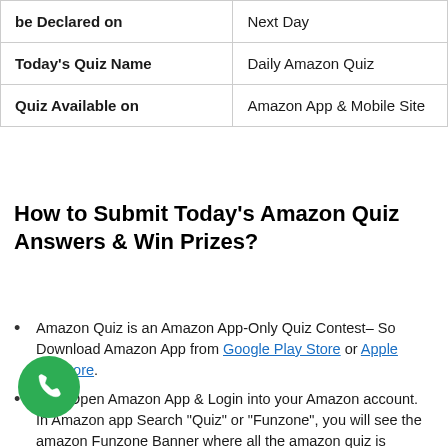|  |  |
| --- | --- |
| be Declared on | Next Day |
| Today's Quiz Name | Daily Amazon Quiz |
| Quiz Available on | Amazon App & Mobile Site |
How to Submit Today's Amazon Quiz Answers & Win Prizes?
Amazon Quiz is an Amazon App-Only Quiz Contest– So Download Amazon App from Google Play Store or Apple Appstore.
Now Open Amazon App & Login into your Amazon account. In Amazon app Search "Quiz" or "Funzone", you will see the amazon Funzone Banner where all the amazon quiz is Available. Alternatively, you can tap to go to the Amazon Quiz page Directly.
[Figure (illustration): Green circular phone/call button icon in bottom-left corner]